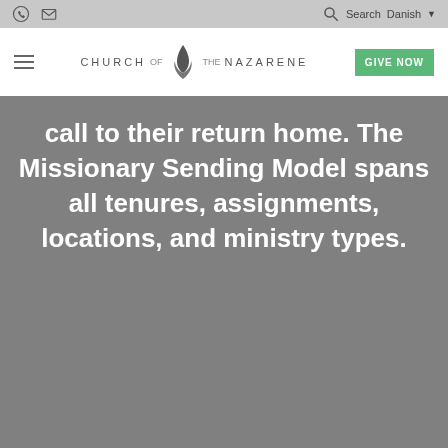Phone icon | Mail icon | Search | Danish
[Figure (logo): Church of the Nazarene logo with flame icon and text CHURCH OF THE NAZARENE]
call to their return home. The Missionary Sending Model spans all tenures, assignments, locations, and ministry types.